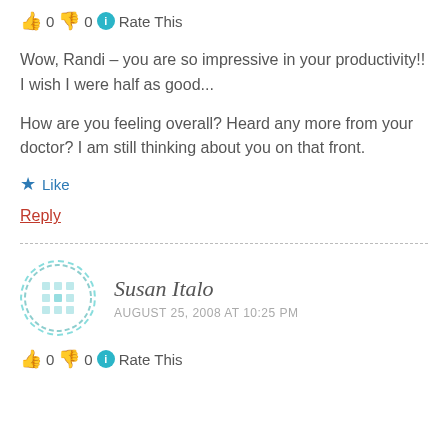👍 0 👎 0 ℹ Rate This
Wow, Randi – you are so impressive in your productivity!! I wish I were half as good...
How are you feeling overall? Heard any more from your doctor? I am still thinking about you on that front.
★ Like
Reply
Susan Italo
AUGUST 25, 2008 AT 10:25 PM
👍 0 👎 0 ℹ Rate This